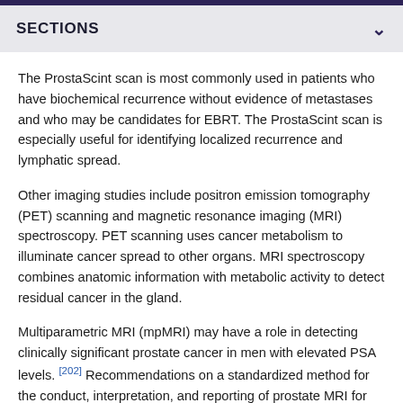SECTIONS
The ProstaScint scan is most commonly used in patients who have biochemical recurrence without evidence of metastases and who may be candidates for EBRT. The ProstaScint scan is especially useful for identifying localized recurrence and lymphatic spread.
Other imaging studies include positron emission tomography (PET) scanning and magnetic resonance imaging (MRI) spectroscopy. PET scanning uses cancer metabolism to illuminate cancer spread to other organs. MRI spectroscopy combines anatomic information with metabolic activity to detect residual cancer in the gland.
Multiparametric MRI (mpMRI) may have a role in detecting clinically significant prostate cancer in men with elevated PSA levels. [202] Recommendations on a standardized method for the conduct, interpretation, and reporting of prostate MRI for cancer detection and localization have been agreed on, using formal consensus methods.